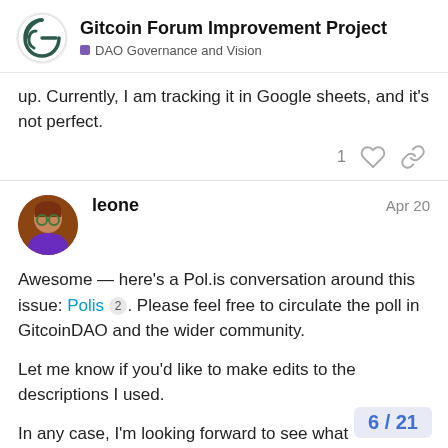Gitcoin Forum Improvement Project — DAO Governance and Vision
up. Currently, I am tracking it in Google sheets, and it's not perfect.
leone  Apr 20
Awesome — here's a Pol.is conversation around this issue: Polis 2. Please feel free to circulate the poll in GitcoinDAO and the wider community.

Let me know if you'd like to make edits to the descriptions I used.

In any case, I'm looking forward to see what categories will get the most plural community support. Let me know when to close the poll and generate the full rep...
6 / 21